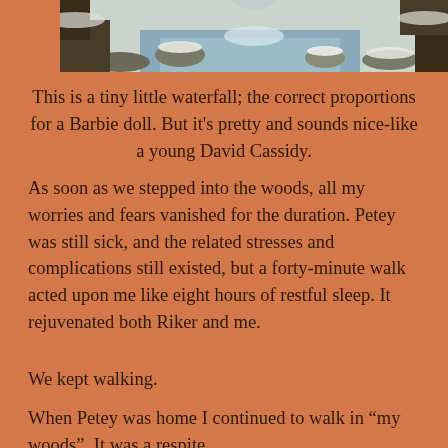[Figure (photo): A tiny waterfall in a snowy winter forest scene with rocks and trees]
This is a tiny little waterfall; the correct proportions for a Barbie doll.  But it's pretty and sounds nice-like a young David Cassidy.
As soon as we stepped into the woods, all my worries and fears vanished for the duration.  Petey was still sick, and the related stresses and complications still existed, but a forty-minute walk acted upon me like eight hours of restful sleep.  It rejuvenated both Riker and me.
We kept walking.
When Petey was home I continued to walk in “my woods”.  It was a respite.